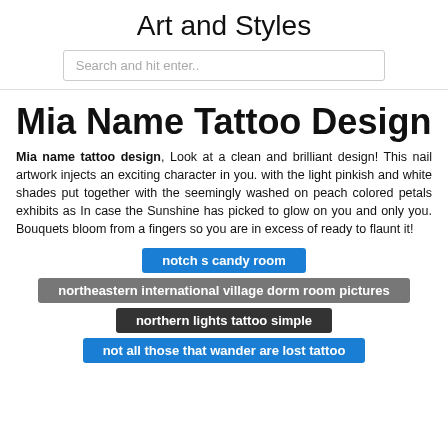Art and Styles
Search and hit enter..
Mia Name Tattoo Design
Mia name tattoo design, Look at a clean and brilliant design! This nail artwork injects an exciting character in you. with the light pinkish and white shades put together with the seemingly washed on peach colored petals exhibits as In case the Sunshine has picked to glow on you and only you. Bouquets bloom from a fingers so you are in excess of ready to flaunt it!
notch s candy room
northeastern international village dorm room pictures
northern lights tattoo simple
not all those that wander are lost tattoo